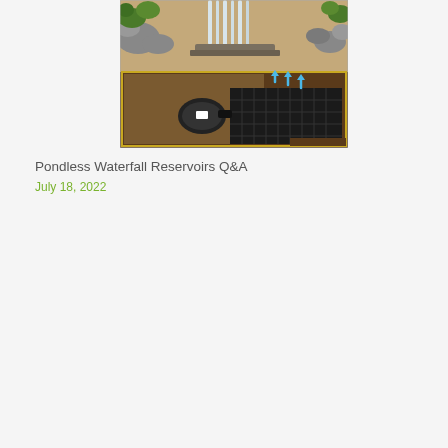[Figure (illustration): Cross-section illustration of a pondless waterfall reservoir system. The top half shows a natural waterfall with rocks, flowing water, and green foliage. The bottom half shows a cutaway underground view revealing the reservoir basin with black modular crate blocks, a pump, and blue arrows indicating water flow direction through the gravel and reservoir.]
Pondless Waterfall Reservoirs Q&A
July 18, 2022